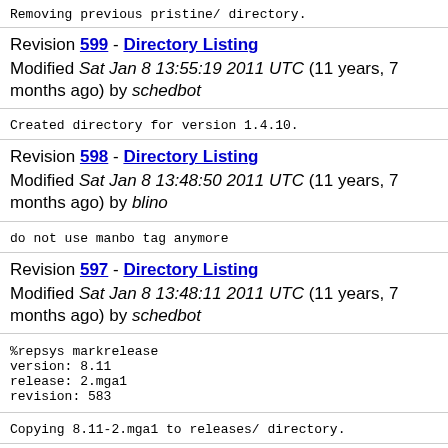Removing previous pristine/ directory.
Revision 599 - Directory Listing
Modified Sat Jan 8 13:55:19 2011 UTC (11 years, 7 months ago) by schedbot
Created directory for version 1.4.10.
Revision 598 - Directory Listing
Modified Sat Jan 8 13:48:50 2011 UTC (11 years, 7 months ago) by blino
do not use manbo tag anymore
Revision 597 - Directory Listing
Modified Sat Jan 8 13:48:11 2011 UTC (11 years, 7 months ago) by schedbot
%repsys markrelease
version: 8.11
release: 2.mga1
revision: 583
Copying 8.11-2.mga1 to releases/ directory.